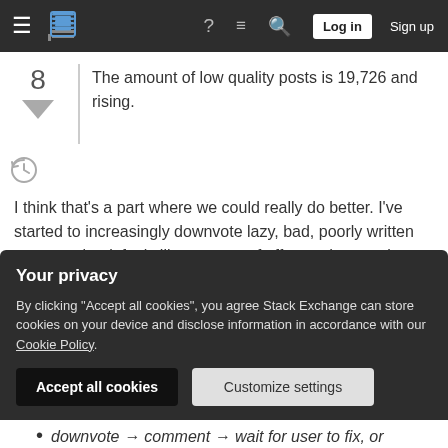Stack Exchange navigation bar with Log in and Sign up buttons
The amount of low quality posts is 19,726 and rising.
I think that's a part where we could really do better. I've started to increasingly downvote lazy, bad, poorly written answers, but it feels like a waste of effort and reputation (on my side), because
the user doesn't care to fix a bad answer, and, more importantly
Your privacy
By clicking "Accept all cookies", you agree Stack Exchange can store cookies on your device and disclose information in accordance with our Cookie Policy.
downvote → comment → wait for user to fix, or